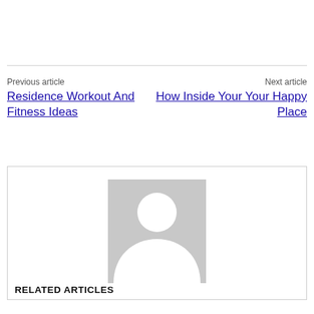Previous article
Residence Workout And Fitness Ideas
Next article
How Inside Your Your Happy Place
[Figure (illustration): Default user avatar placeholder — grey square with white silhouette of a person (head circle and shoulders shape)]
RELATED ARTICLES